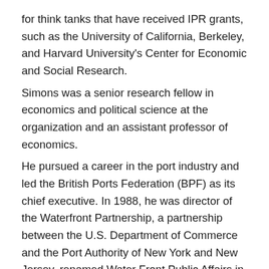for think tanks that have received IPR grants, such as the University of California, Berkeley, and Harvard University's Center for Economic and Social Research. Simons was a senior research fellow in economics and political science at the organization and an assistant professor of economics. He pursued a career in the port industry and led the British Ports Federation (BPF) as its chief executive. In 1988, he was director of the Waterfront Partnership, a partnership between the U.S. Department of Commerce and the Port Authority of New York and New Jersey, renamed Water Front Public Affairs in 2007. The trustee of the Foundation may not simultaneously assume the position of director or auditor of any other non-governmental organisation or organisation such as the Institute for Policy Research as a director, auditor or